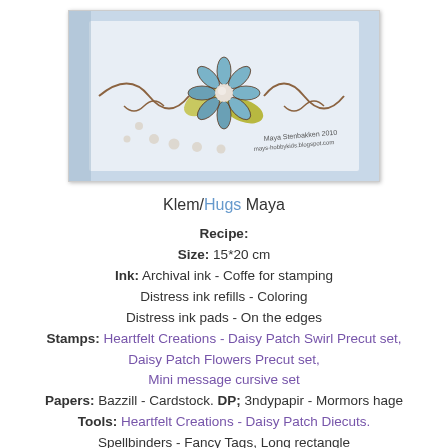[Figure (photo): Close-up photo of a handmade greeting card featuring a blue daisy flower with a pearl center, yellow leaves, and decorative brown swirl stamp design with small pearl dots. Watermark text reads 'Maya Stenbakken 2010 mays-hobbykids.blogspot.com']
Klem/Hugs Maya
Recipe:
Size: 15*20 cm
Ink: Archival ink - Coffe for stamping
Distress ink refills - Coloring
Distress ink pads - On the edges
Stamps: Heartfelt Creations - Daisy Patch Swirl Precut set, Daisy Patch Flowers Precut set, Mini message cursive set
Papers: Bazzill - Cardstock. DP; 3ndypapir - Mormors hage
Tools: Heartfelt Creations - Daisy Patch Diecuts.
Spellbinders - Fancy Tags, Long rectangle